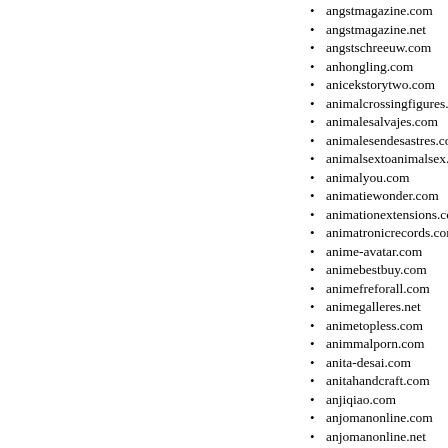angstmagazine.com
angstmagazine.net
angstschreeuw.com
anhongling.com
anicekstorytwo.com
animalcrossingfigures.com
animalesalvajes.com
animalesendesastres.com
animalsextoanimalsex.com
animalyou.com
animatiewonder.com
animationextensions.com
animatronicrecords.com
anime-avatar.com
animebestbuy.com
animefreforall.com
animegalleres.net
animetopless.com
animmalporn.com
anita-desai.com
anitahandcraft.com
anjiqiao.com
anjomanonline.com
anjomanonline.net
anjyukai.com
ankara-anlasmasi.net
anklesandtoes.com
ann-techshoes.com